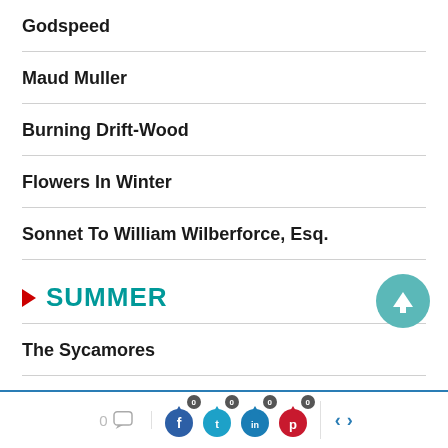Godspeed
Maud Muller
Burning Drift-Wood
Flowers In Winter
Sonnet To William Wilberforce, Esq.
SUMMER
The Sycamores
Social share bar with comment count 0, Facebook 0, Twitter 0, LinkedIn 0, Pinterest 0, navigation arrows